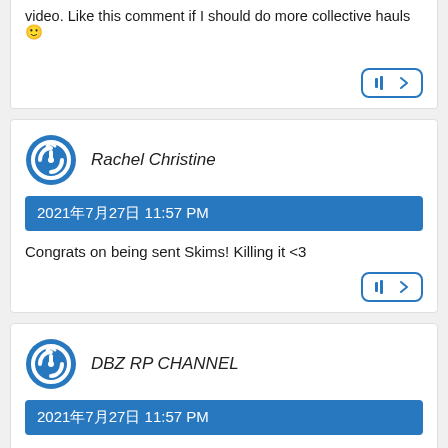video. Like this comment if I should do more collective hauls 🙂
Rachel Christine
2021年7月27日 11:57 PM
Congrats on being sent Skims! Killing it <3
DBZ RP CHANNEL
2021年7月27日 11:57 PM
Love your personality